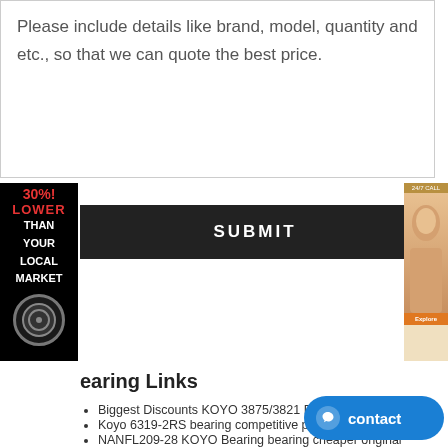Please include details like brand, model, quantity and etc., so that we can quote the best price.
[Figure (infographic): Red and black ad banner on left side reading '30%! LOWER THAN YOUR LOCAL MARKET' with a bearing icon]
[Figure (infographic): Submit button, black background with white text 'SUBMIT']
[Figure (infographic): Right side advertisement banner with a face photo and orange button]
earing Links
Biggest Discounts KOYO 3875/3821 Bearing | Botswana
Koyo 6319-2RS bearing competitive price - Royal
NANFL209-28 KOYO Bearing bearing cheaper original bearing detail
3188/3126 KOYO Bearing bearing market top brand bearing
22210SWREAg2E4 NSK Bearing bearing agent consult online bearing shop
NSK 7206ADB bearing, bearing dimensions-30mm*62mm*16mm
91005-PL3-A02 | BEARING, RADIAL BALL (6207C) (NTN CORP
KOYO 7928C bearing 140x190x24 1036928 | Angular Contact
7206A5TRSU NSK bearing - Trade Safer and Easier 7206A5TRSU
71909CE/P4A SKF Bearing top bearing company c...
QJ1060N2MA SKF Bearing top bearing company e...
TIMKEN HM516448/HM516410 – Ball Roller Bearings Supplier